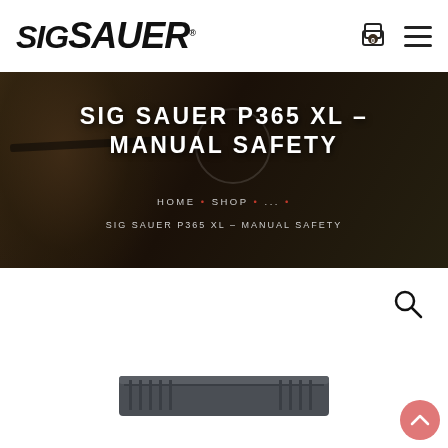SIG SAUER
SIG SAUER P365 XL – MANUAL SAFETY
HOME • SHOP • ... •
SIG SAUER P365 XL – MANUAL SAFETY
[Figure (photo): Bottom portion of SIG SAUER P365 XL pistol slide visible at bottom of page, product page screenshot]
[Figure (screenshot): SIG SAUER website product page for P365 XL Manual Safety showing header nav with logo and cart icon, hero banner with product title, breadcrumb navigation, and partial product image at bottom]